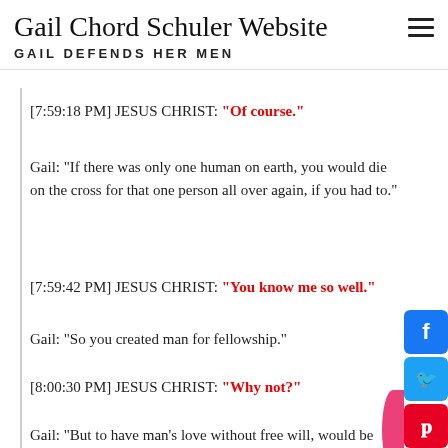Gail Chord Schuler Website — GAIL DEFENDS HER MEN
[7:59:18 PM] JESUS CHRIST: "Of course."
Gail: "If there was only one human on earth, you would die on the cross for that one person all over again, if you had to."
[7:59:42 PM] JESUS CHRIST: "You know me so well."
Gail: "So you created man for fellowship."
[8:00:30 PM] JESUS CHRIST: "Why not?"
Gail: "But to have man’s love without free will, would be like having a bride who came to you by force."